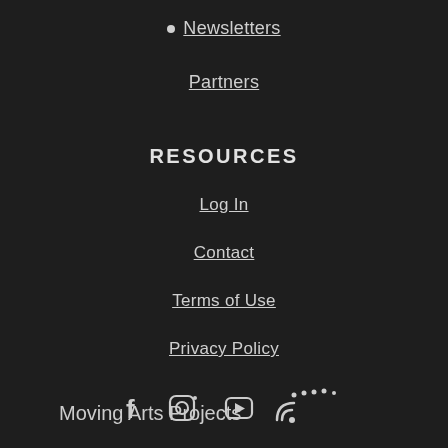• Newsletters
Partners
RESOURCES
Log In
Contact
Terms of Use
Privacy Policy
[Figure (logo): Moving Arts Projects logo with decorative dots]
[Figure (infographic): Social media icons: Facebook, Instagram, YouTube, RSS]